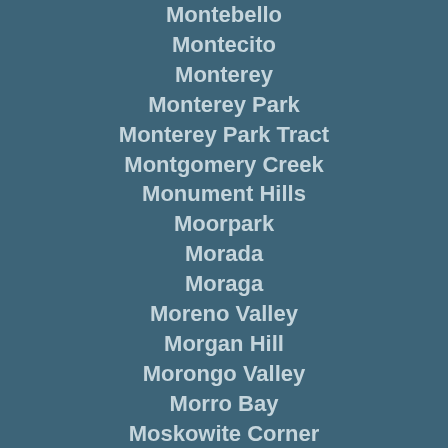Montebello
Montecito
Monterey
Monterey Park
Monterey Park Tract
Montgomery Creek
Monument Hills
Moorpark
Morada
Moraga
Moreno Valley
Morgan Hill
Morongo Valley
Morro Bay
Moskowite Corner
Moss Beach
Moss Landing
Mount Hebron
Mount Hermon
Mount Laguna
Mount Shasta